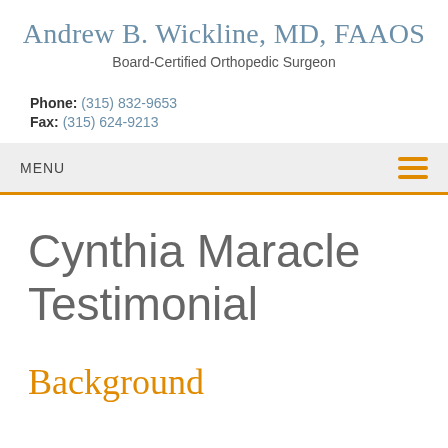Andrew B. Wickline, MD, FAAOS
Board-Certified Orthopedic Surgeon
Phone: (315) 832-9653
Fax: (315) 624-9213
MENU
Cynthia Maracle Testimonial
Background